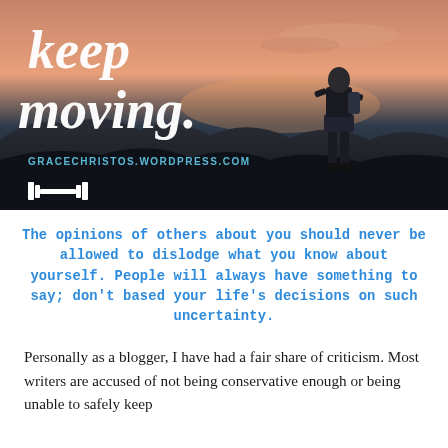[Figure (photo): Motivational image showing a person standing on rocks at sunset with bold italic white text 'keep moving.' overlaid, website URL 'GRACECHRISTOS.WORDPRESS.COM' in cyan/teal, and a dumbbell icon at bottom left. Dark dramatic sky background.]
The opinions of others about you should never be allowed to dislodge what you know about yourself. People will always have something to say; don't based your life's decisions on such uncertainty.
Personally as a blogger, I have had a fair share of criticism. Most writers are accused of not being conservative enough or being unable to safely keep